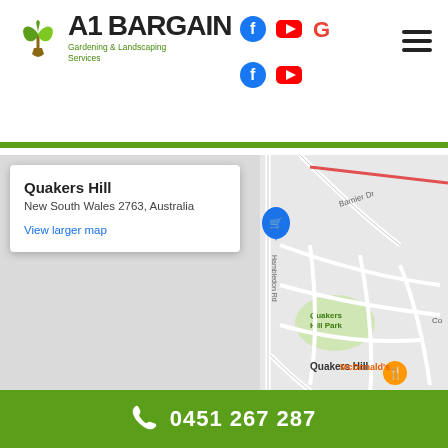[Figure (logo): A1 Bargain Gardening & Landscaping Services logo with green leaf icon]
[Figure (screenshot): Social media icons: Facebook (blue circle f), YouTube (red play button), Google (G) on top row; Facebook and YouTube on second row]
[Figure (map): Google Maps screenshot showing Quakers Hill, New South Wales 2763, Australia area with streets, Quakers Hill Park, McDonald's marker]
Quakers Hill
New South Wales 2763, Australia
View larger map
0451 267 287